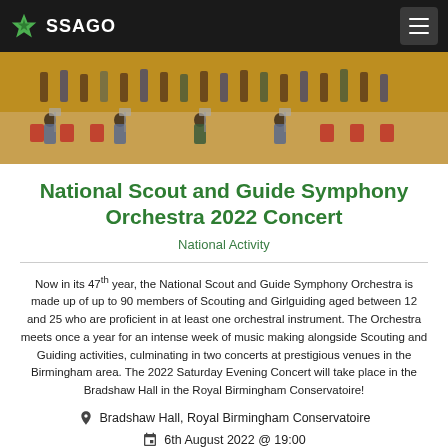SSAGO
[Figure (photo): Orchestra musicians on stage with instruments and red chairs]
National Scout and Guide Symphony Orchestra 2022 Concert
National Activity
Now in its 47th year, the National Scout and Guide Symphony Orchestra is made up of up to 90 members of Scouting and Girlguiding aged between 12 and 25 who are proficient in at least one orchestral instrument. The Orchestra meets once a year for an intense week of music making alongside Scouting and Guiding activities, culminating in two concerts at prestigious venues in the Birmingham area. The 2022 Saturday Evening Concert will take place in the Bradshaw Hall in the Royal Birmingham Conservatoire!
Bradshaw Hall, Royal Birmingham Conservatoire
6th August 2022 @ 19:00